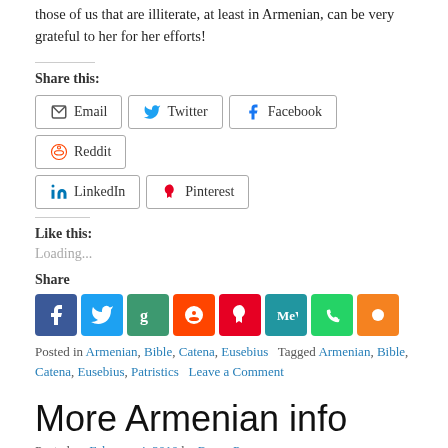those of us that are illiterate, at least in Armenian, can be very grateful to her for her efforts!
Share this:
Email | Twitter | Facebook | Reddit | LinkedIn | Pinterest
Like this:
Loading...
Share
Posted in Armenian, Bible, Catena, Eusebius   Tagged Armenian, Bible, Catena, Eusebius, Patristics   Leave a Comment
More Armenian info
Posted on February 4, 2010 by Roger Pearse